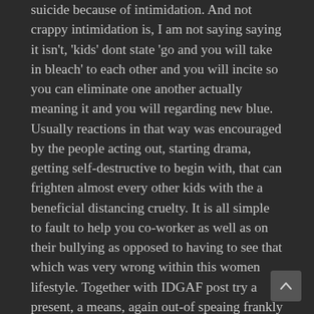suicide because of intimidation. And not crappy intimidation is, I am not saying saying it isn't, 'kids' dont state 'go and you will take in bleach' to each other and you will incite so you can eliminate one another actually meaning it and you will regarding new blue. Usually reactions in that way was encouraged by the people acting out, starting drama, getting self-destructive to begin with, that can frighten almost every other kids with the a beneficial distancing cruelty. It is all simple to fault to help you co-worker as well as on their bullying as opposed to having to see that which was very wrong within this women lifestyle. Together with IDGAF post try a present, a means, again out-of speaing frankly about her very own fright. This can be a female who is protective after becoming charged exclusively for what she understands try a more impressive story, that has already getting taboo. This might be a woman are difficult when confronted with the lady very own attitude out of shame, which could not really become